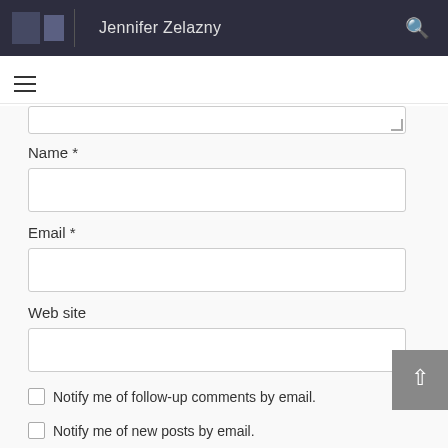Jennifer Zelazny
Name *
Email *
Web site
Notify me of follow-up comments by email.
Notify me of new posts by email.